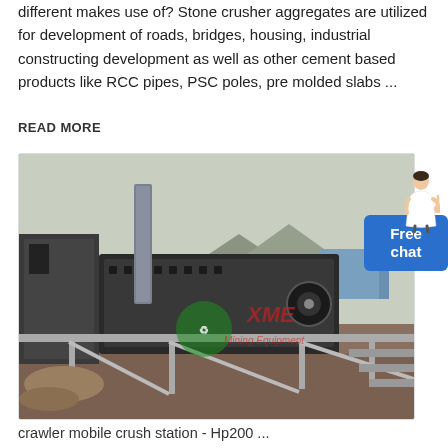different makes use of? Stone crusher aggregates are utilized for development of roads, bridges, housing, industrial constructing development as well as other cement based products like RCC pipes, PSC poles, pre molded slabs ...
READ MORE
[Figure (photo): Industrial mining equipment – a vibrating screen or crushing station with XME Mining Equipment logo watermark, outdoor setting with mountains in the background.]
crawler mobile crush station - Hp200 ...